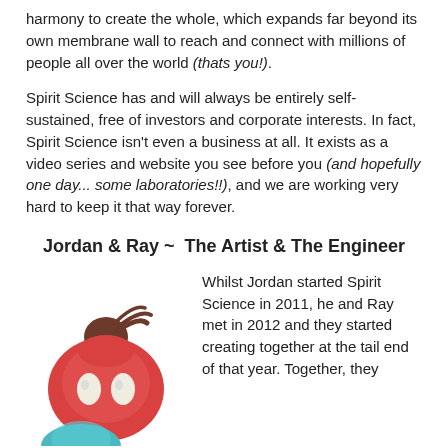harmony to create the whole, which expands far beyond its own membrane wall to reach and connect with millions of people all over the world (thats you!).
Spirit Science has and will always be entirely self-sustained, free of investors and corporate interests. In fact, Spirit Science isn't even a business at all. It exists as a video series and website you see before you (and hopefully one day... some laboratories!!), and we are working very hard to keep it that way forever.
Jordan & Ray ~  The Artist & The Engineer
[Figure (illustration): Cartoon illustration of a round red character with a brown hair bun and white oval eyes, and partially visible teal character below]
Whilst Jordan started Spirit Science in 2011, he and Ray met in 2012 and they started creating together at the tail end of that year. Together, they